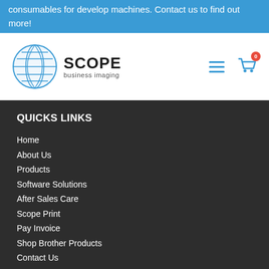consumables for develop machines. Contact us to find out more!
[Figure (logo): Scope Business Imaging logo with globe graphic]
QUICKS LINKS
Home
About Us
Products
Software Solutions
After Sales Care
Scope Print
Pay Invoice
Shop Brother Products
Contact Us
[Figure (logo): Scope Business Imaging small logo at bottom]